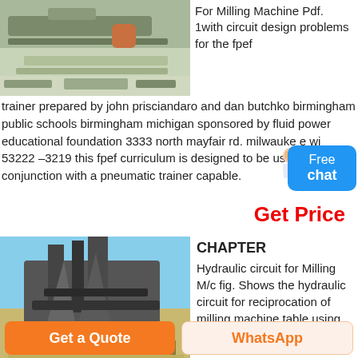[Figure (photo): Industrial conveyor/milling machine equipment photo, outdoor industrial setting]
For Milling Machine Pdf. 1with circuit design problems for the fpef trainer prepared by john prisciandaro and dan butchko birmingham public schools birmingham michigan sponsored by fluid power educational foundation 3333 north mayfair rd. milwauke e wi 53222 –3219 this fpef curriculum is designed to be used in conjunction with a pneumatic trainer capable.
Get Price
[Figure (photo): Industrial quarry crusher/conveyor equipment photo]
CHAPTER
Hydraulic circuit for Milling M/c fig. Shows the hydraulic circuit for reciprocation of milling machine table using limit
Get a Quote
WhatsApp